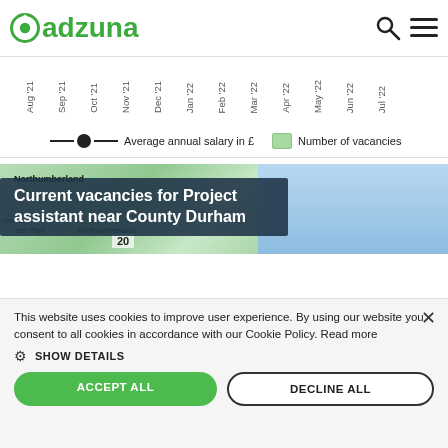[Figure (logo): Adzuna logo with green circular icon and green text]
[Figure (other): Chart x-axis labels: Aug '21, Sep '21, Oct '21, Nov '21, Dec '21, Jan '22, Feb '22, Mar '22, Apr '22, May '22, Jun '22, Jul '22]
Average annual salary in £    Number of vacancies
[Figure (map): Map showing County Durham area with location label 'Northumberland', place names including 'helder', 'est Park', 'Northumberland', number '20' visible, and blue sky portion]
Current vacancies for Project assistant near County Durham
This website uses cookies to improve user experience. By using our website you consent to all cookies in accordance with our Cookie Policy. Read more
SHOW DETAILS
ACCEPT ALL
DECLINE ALL